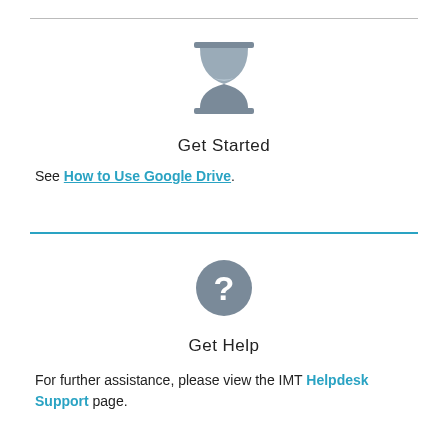[Figure (illustration): Hourglass icon in gray]
Get Started
See How to Use Google Drive.
[Figure (illustration): Gray circle with white question mark icon]
Get Help
For further assistance, please view the IMT Helpdesk Support page.